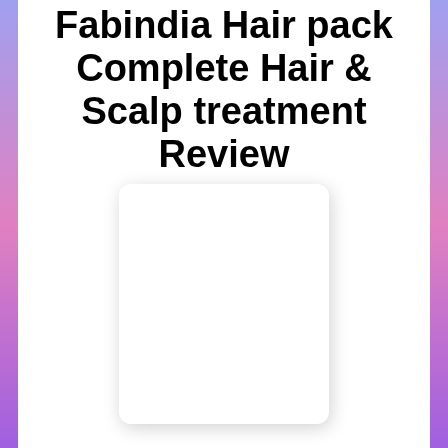Fabindia Hair pack Complete Hair & Scalp treatment Review
[Figure (photo): A white rectangular product image placeholder with rounded corners and a subtle drop shadow, representing the Fabindia Hair Pack product.]
Hello Everyone Welcome back, when your hair is unmanageable and frizzy, the